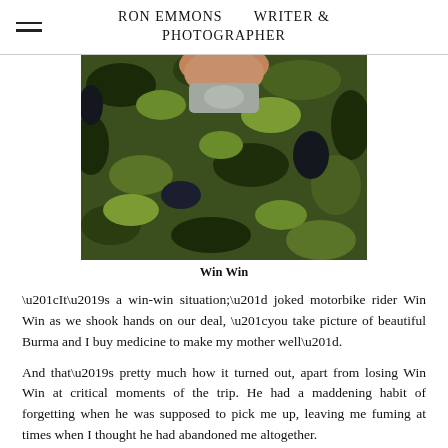RON EMMONS   WRITER & PHOTOGRAPHER
[Figure (photo): Close-up photo of a man in a camouflage military-style jacket, showing from chin to chest. The man has a slight smile.]
Win Win
“It’s a win-win situation;” joked motorbike rider Win Win as we shook hands on our deal, “you take picture of beautiful Burma and I buy medicine to make my mother well”.
And that’s pretty much how it turned out, apart from losing Win Win at critical moments of the trip. He had a maddening habit of forgetting when he was supposed to pick me up, leaving me fuming at times when I thought he had abandoned me altogether.